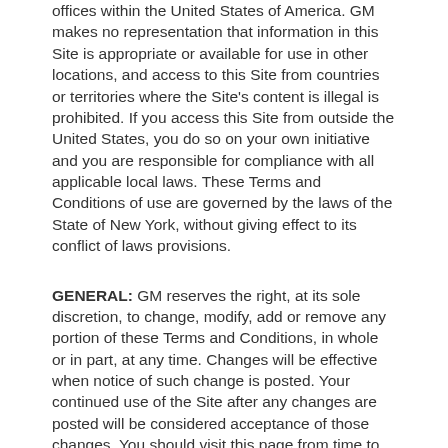offices within the United States of America. GM makes no representation that information in this Site is appropriate or available for use in other locations, and access to this Site from countries or territories where the Site's content is illegal is prohibited. If you access this Site from outside the United States, you do so on your own initiative and you are responsible for compliance with all applicable local laws. These Terms and Conditions of use are governed by the laws of the State of New York, without giving effect to its conflict of laws provisions.
GENERAL: GM reserves the right, at its sole discretion, to change, modify, add or remove any portion of these Terms and Conditions, in whole or in part, at any time. Changes will be effective when notice of such change is posted. Your continued use of the Site after any changes are posted will be considered acceptance of those changes. You should visit this page from time to time to review the then-current Terms and Conditions because they are binding on you.
THE INFORMATION CONTAINED HEREIN MAY CONTAIN INACCURACIES AND TYPOGRAPHICAL ERRORS. GM...